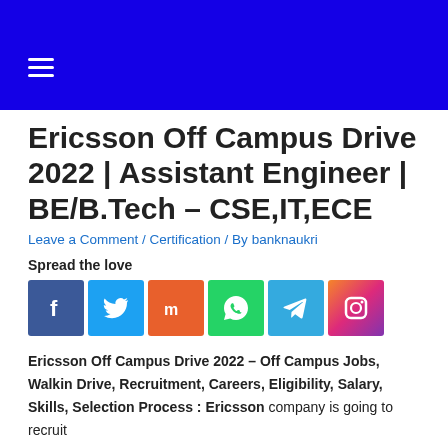Ericsson Off Campus Drive 2022 | Assistant Engineer | BE/B.Tech – CSE,IT,ECE
Leave a Comment / Certification / By banknaukri
Spread the love
[Figure (other): Social media share icons: Facebook, Twitter, Mix, WhatsApp, Telegram, Instagram]
Ericsson Off Campus Drive 2022 – Off Campus Jobs, Walkin Drive, Recruitment, Careers, Eligibility, Salary, Skills, Selection Process : Ericsson company is going to recruit